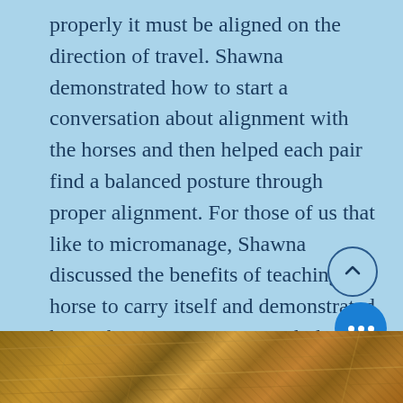properly it must be aligned on the direction of travel. Shawna demonstrated how to start a conversation about alignment with the horses and then helped each pair find a balanced posture through proper alignment. For those of us that like to micromanage, Shawna discussed the benefits of teaching the horse to carry itself and demonstrated how a bigger correction might be necessary to encourage the horse to carry it's posture for more steps. Of course there was always a return to relaxation after a correction.
[Figure (photo): Photo strip showing dried grass or straw/thatch material at the bottom of the page]